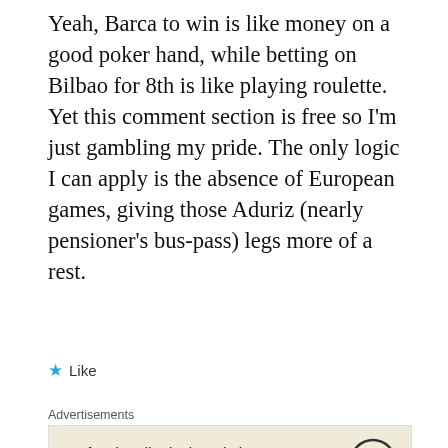Yeah, Barca to win is like money on a good poker hand, while betting on Bilbao for 8th is like playing roulette. Yet this comment section is free so I'm just gambling my pride. The only logic I can apply is the absence of European games, giving those Aduriz (nearly pensioner's bus-pass) legs more of a rest.
Like
Advertisements
[Figure (other): WordPress advertisement banner with text 'Professionally designed sites in less than a week' and WordPress logo]
REPORT THIS AD
Isaac Kearns